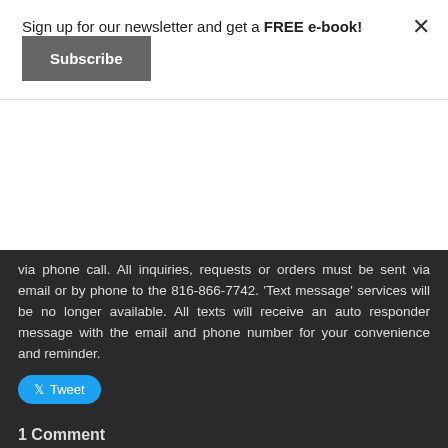Sign up for our newsletter and get a FREE e-book!
Subscribe
× (close button)
via phone call. All inquiries, requests or orders must be sent via email or by phone to the 816-866-7742. 'Text message' services will be no longer available. All texts will receive an auto responder message with the email and phone number for your convenience and reminder.
Tweet
1 Comment
i want to buy a dissertation → 3/16/2019 02:39:23 am
Thank you for the wonderful greeting, Purpose Publishing! I really appreciate that you have remembered your followers and you greet us before the year ends. I can feel that you will be sharing a lot of stuff here on your website, and I cannot wait for that. Hopefully, you could also make yourself as bridge for the rookie writers who dream to have their own work published one day. It